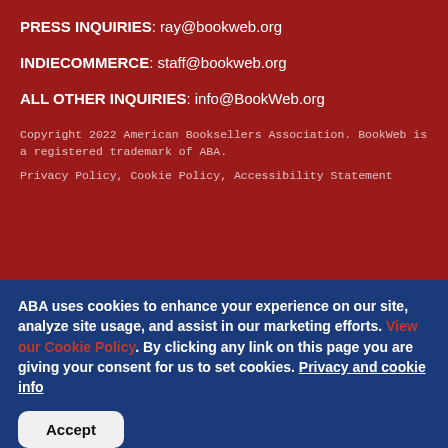PRESS INQUIRIES: ray@bookweb.org
INDIECOMMERCE: staff@bookweb.org
ALL OTHER INQUIRIES: info@BookWeb.org
Copyright 2022 American Booksellers Association. BookWeb is a registered trademark of ABA.
Privacy Policy, Cookie Policy, Accessibility Statement
ABA uses cookies to enhance your experience on our site, analyze site usage, and assist in our marketing efforts. View our Cookie Policy. By clicking any link on this page you are giving your consent for us to set cookies. Privacy and cookie info
Accept